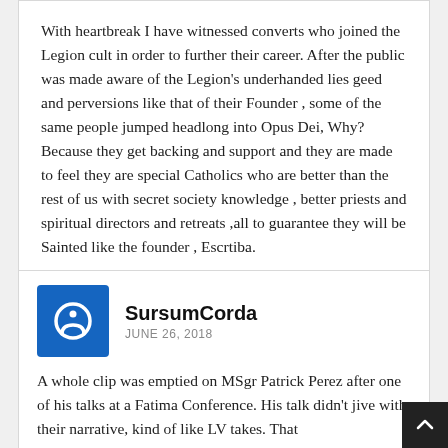With heartbreak I have witnessed converts who joined the Legion cult in order to further their career. After the public was made aware of the Legion's underhanded lies geed and perversions like that of their Founder , some of the same people jumped headlong into Opus Dei, Why? Because they get backing and support and they are made to feel they are special Catholics who are better than the rest of us with secret society knowledge , better priests and spiritual directors and retreats ,all to guarantee they will be Sainted like the founder , Escrtiba.
SursumCorda
JUNE 26, 2018
A whole clip was emptied on MSgr Patrick Perez after one of his talks at a Fatima Conference. His talk didn't jive with their narrative, kind of like LV takes. That